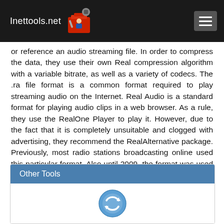Inettools.net
or reference an audio streaming file. In order to compress the data, they use their own Real compression algorithm with a variable bitrate, as well as a variety of codecs. The .ra file format is a common format required to play streaming audio on the Internet. Real Audio is a standard format for playing audio clips in a web browser. As a rule, they use the RealOne Player to play it. However, due to the fact that it is completely unsuitable and clogged with advertising, they recommend the RealAlternative package. Previously, most radio stations broadcasting online used this particular format. Also until 2009, the format was used on its website by BBC. Currently, the RA format is not so popular among those who broadcast online, since new technologies have already been introduced.
Other Tools
[Figure (illustration): Blue circular icon with arrows indicating conversion/sync]